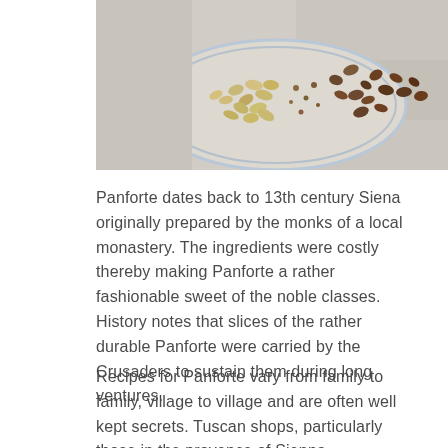[Figure (photo): Close-up photo of nuts, seeds, and dried fruits on a decorative plate with a blue and white pattern on a marble surface]
Panforte dates back to 13th century Siena originally prepared by the monks of a local monastery.  The ingredients were costly thereby making Panforte a rather fashionable sweet of the noble classes.  History notes that slices of the rather durable Panforte were carried by the Crusaders to sustain them during long ventures.
Recipes for Panforte vary from family to family, village to village and are often well kept secrets.  Tuscan shops, particularly those in the provence of Sienna